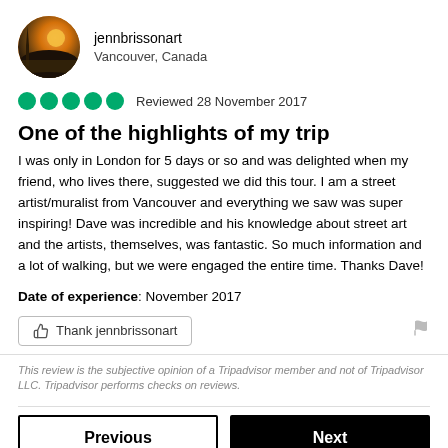[Figure (photo): Circular avatar photo of a sunset/canal scene in warm orange and brown tones]
jennbrissonart
Vancouver, Canada
Reviewed 28 November 2017
One of the highlights of my trip
I was only in London for 5 days or so and was delighted when my friend, who lives there, suggested we did this tour. I am a street artist/muralist from Vancouver and everything we saw was super inspiring! Dave was incredible and his knowledge about street art and the artists, themselves, was fantastic. So much information and a lot of walking, but we were engaged the entire time. Thanks Dave!
Date of experience: November 2017
Thank jennbrissonart
This review is the subjective opinion of a Tripadvisor member and not of Tripadvisor LLC. Tripadvisor performs checks on reviews.
Previous
Next
1 ... 112 113 114 ...